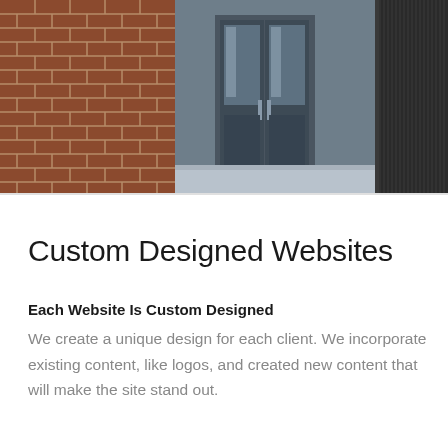[Figure (photo): Storefront photo showing a brick wall on the left, a glass door entrance in the middle with dark framing, and a large black cylindrical trash can or HVAC unit on the right, with a concrete ground floor visible.]
Custom Designed Websites
Each Website Is Custom Designed
We create a unique design for each client. We incorporate existing content, like logos, and created new content that will make the site stand out.